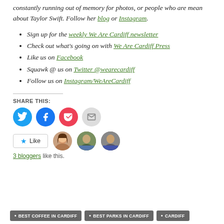constantly running out of memory for photos, or people who are mean about Taylor Swift. Follow her blog or Instagram.
Sign up for the weekly We Are Cardiff newsletter
Check out what's going on with We Are Cardiff Press
Like us on Facebook
Squawk @ us on Twitter @wearecardiff
Follow us on Instagram/WeAreCardiff
SHARE THIS:
[Figure (infographic): Social sharing icons: Twitter (blue circle), Facebook (blue circle), Pocket (red circle), Email (grey circle)]
[Figure (infographic): Like button with star and three blogger avatar photos. Text: 3 bloggers like this.]